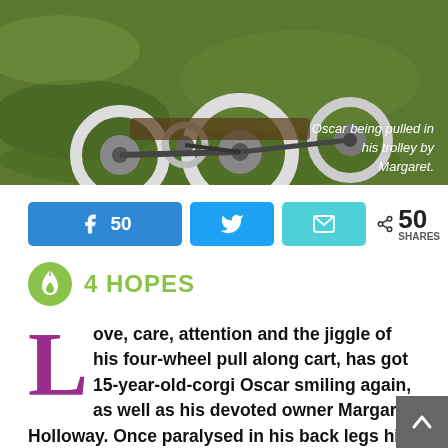[Figure (photo): Photo of Oscar the corgi being pulled in a four-wheeled trolley on grass]
Oscar being pulled in his trolley by Margaret.
[Figure (infographic): Social sharing bar with Facebook (50), Twitter, Email buttons and 50 SHARES count]
4 HOPES
Love, care, attention and the jiggle of his four-wheel pull along cart, has got 15-year-old-corgi Oscar smiling again, as well as his devoted owner Margaret Holloway. Once paralysed in his back legs his recovery story is going to be the subject of an Upper Hutt school study on 'never giving up!'